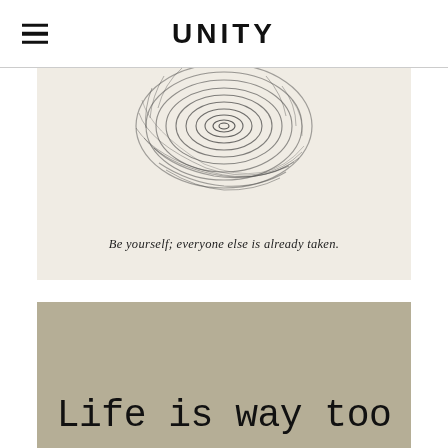UNITY
[Figure (illustration): Fingerprint image on a cream/beige background with the italic quote 'Be yourself; everyone else is already taken.' below it]
[Figure (photo): Olive/khaki colored background with large typewriter-font text reading 'Life is way too' (text continues below the visible area)]